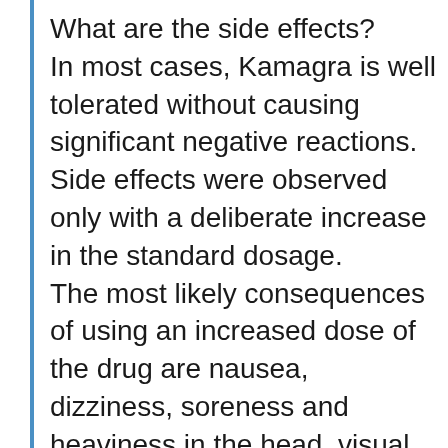What are the side effects?
In most cases, Kamagra is well tolerated without causing significant negative reactions. Side effects were observed only with a deliberate increase in the standard dosage. The most likely consequences of using an increased dose of the drug are nausea, dizziness, soreness and heaviness in the head, visual impairment, increased photosensitivity, and indigestion. The presence of any of the listed